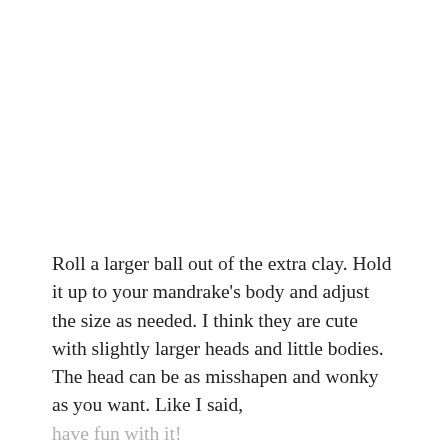Roll a larger ball out of the extra clay. Hold it up to your mandrake's body and adjust the size as needed. I think they are cute with slightly larger heads and little bodies. The head can be as misshapen and wonky as you want. Like I said, have fun with it!